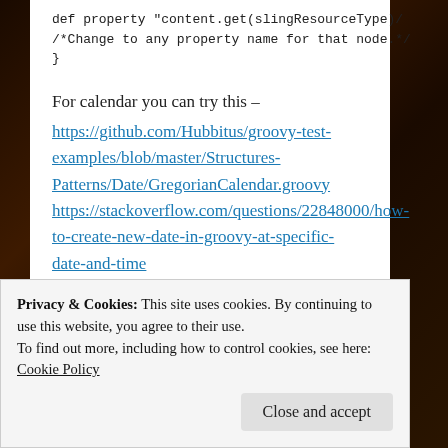def property "content.get(slingResourceType)/
/*Change to any property name for that node.*/
}
For calendar you can try this –
https://github.com/Hubbitus/groovy-test-examples/blob/master/Structures-Patterns/Date/GregorianCalendar.groovy https://stackoverflow.com/questions/22848000/how-to-create-new-date-in-groovy-at-specific-date-and-time
★ Like
Log in to Reply
Privacy & Cookies: This site uses cookies. By continuing to use this website, you agree to their use.
To find out more, including how to control cookies, see here: Cookie Policy
Close and accept